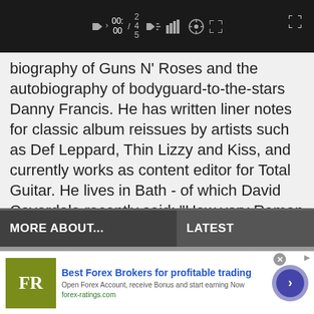[Figure (screenshot): Video player control bar showing mute icon, 00:00 timestamp, volume/settings/fullscreen icons on dark background]
biography of Guns N' Roses and the autobiography of bodyguard-to-the-stars Danny Francis. He has written liner notes for classic album reissues by artists such as Def Leppard, Thin Lizzy and Kiss, and currently works as content editor for Total Guitar. He lives in Bath - of which David Coverdale recently said: “How very Roman of you!”
MORE ABOUT...
LATEST
[Figure (screenshot): Advertisement for Best Forex Brokers featuring FR logo in olive/yellow-green square, blue bold headline, subtext about forex account, forex-ratings.com URL, and a circular blue arrow button]